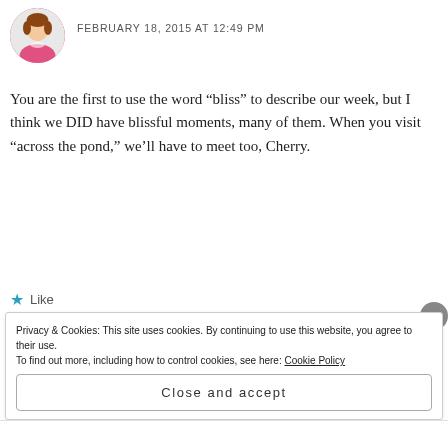[Figure (photo): Avatar photo of a woman in a pink top]
FEBRUARY 18, 2015 AT 12:49 PM
You are the first to use the word “bliss” to describe our week, but I think we DID have blissful moments, many of them. When you visit “across the pond,” we’ll have to meet too, Cherry.
★ Like
Reply
Privacy & Cookies: This site uses cookies. By continuing to use this website, you agree to their use.
To find out more, including how to control cookies, see here: Cookie Policy
Close and accept